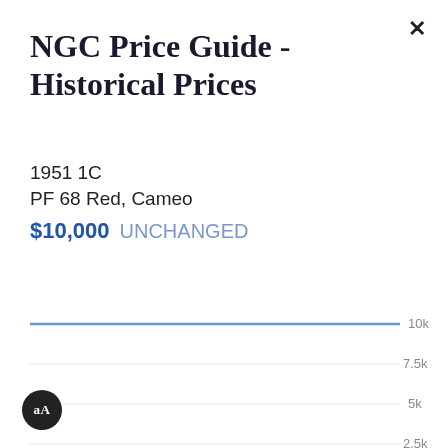NGC Price Guide - Historical Prices
1951 1C
PF 68 Red, Cameo
$10,000 UNCHANGED
[Figure (line-chart): Flat horizontal line at 10k value. Y-axis gridlines at 10k, 7.5k, 5k, 2.5k. Active tab: YTD.]